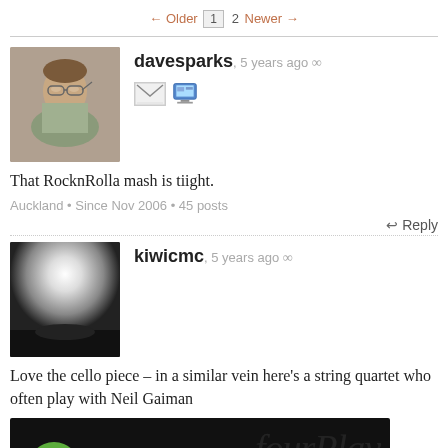← Older  1  2  Newer →
[Figure (photo): Profile photo of davesparks, a man with glasses adjusting them]
davesparks, 5 years ago ∞
That RocknRolla mash is tiight.
Auckland • Since Nov 2006 • 45 posts
↩ Reply
[Figure (photo): Profile photo of kiwicmc, a bright sunlit outdoor scene]
kiwicmc, 5 years ago ∞
Love the cello piece – in a similar vein here's a string quartet who often play with Neil Gaiman
[Figure (screenshot): Video thumbnail: FourPlay String Quartet - Dr. ... with green circle J icon on dark background]